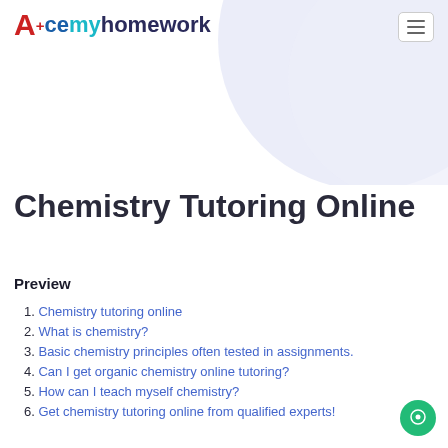[Figure (logo): Acemyhomework logo with red A+, blue 'ce', cyan 'my', dark 'homework' text]
[Figure (illustration): Light lavender/periwinkle hero blob shape in upper right corner]
Chemistry Tutoring Online
Preview
Chemistry tutoring online
What is chemistry?
Basic chemistry principles often tested in assignments.
Can I get organic chemistry online tutoring?
How can I teach myself chemistry?
Get chemistry tutoring online from qualified experts!